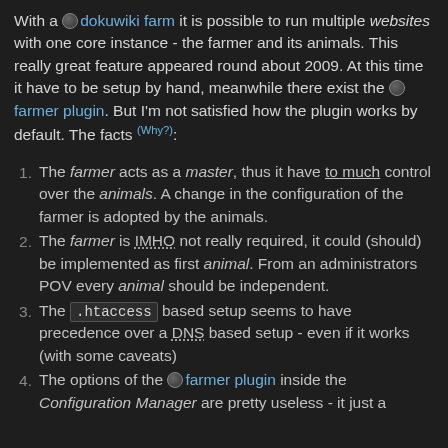With a 🌐 dokuwiki farm it is possible to run multiple websites with one core instance - the farmer and its animals. This really great feature appeared round about 2009. At this time it have to be setup by hand, meanwhile there exist the 🌐 farmer plugin. But I'm not satisfied how the plugin works by default. The facts (Why?):
1. The farmer acts as a master, thus it have to much control over the animals. A change in the configuration of the farmer is adopted by the animals.
2. The farmer is IMHO not really required, it could (should) be implemented as first animal. From an administrators POV every animal should be independent.
3. The .htaccess based setup seems to have precedence over a DNS based setup - even if it works (with some caveats)
4. The options of the 🌐 farmer plugin inside the Configuration Manager are pretty useless - it just a